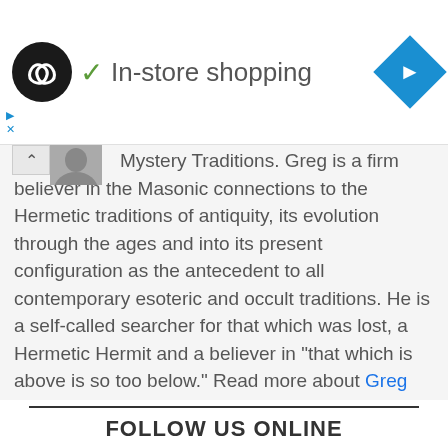[Figure (screenshot): Website header with a dark circular logo with infinity-like symbol, a green checkmark followed by 'In-store shopping' text, and a blue navigation diamond arrow on the right. Small blue ad controls (play and X) on the left side.]
Mystery Traditions. Greg is a firm believer in the Masonic connections to the Hermetic traditions of antiquity, its evolution through the ages and into its present configuration as the antecedent to all contemporary esoteric and occult traditions. He is a self-called searcher for that which was lost, a Hermetic Hermit and a believer in “that which is above is so too below.” Read more about Greg Stewart.
FOLLOW US ONLINE